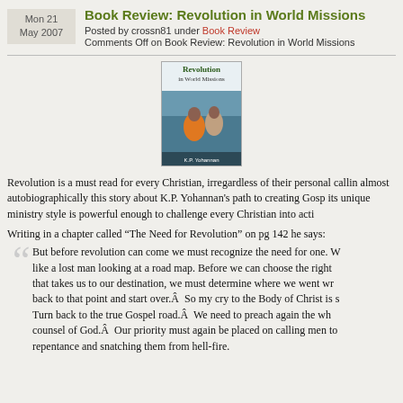Book Review: Revolution in World Missions
Posted by crossn81 under Book Review
Comments Off on Book Review: Revolution in World Missions
[Figure (photo): Book cover of 'Revolution in World Missions' by K.P. Yohannan, showing two people in water with an orange shirt]
Revolution is a must read for every Christian, irregardless of their personal calling almost autobiographically this story about K.P. Yohannan's path to creating Gosp its unique ministry style is powerful enough to challenge every Christian into acti
Writing in a chapter called “The Need for Revolution” on pg 142 he says:
But before revolution can come we must recognize the need for one. W like a lost man looking at a road map. Before we can choose the right that takes us to our destination, we must determine where we went wr back to that point and start over.Â  So my cry to the Body of Christ is s Turn back to the true Gospel road.Â  We need to preach again the wh counsel of God.Â  Our priority must again be placed on calling men to repentance and snatching them from hell-fire.